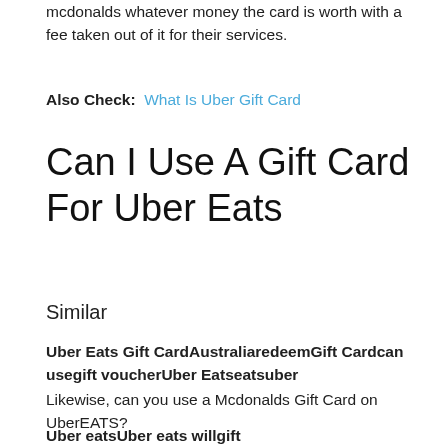mcdonalds whatever money the card is worth with a fee taken out of it for their services.
Also Check:  What Is Uber Gift Card
Can I Use A Gift Card For Uber Eats
Similar
Uber Eats Gift CardAustraliaredeemGift Cardcan usegift voucherUber Eatseatsuber
Likewise, can you use a Mcdonalds Gift Card on UberEATS?
Uber eatsUber eats willgift cardcardcardmcdonaldscard